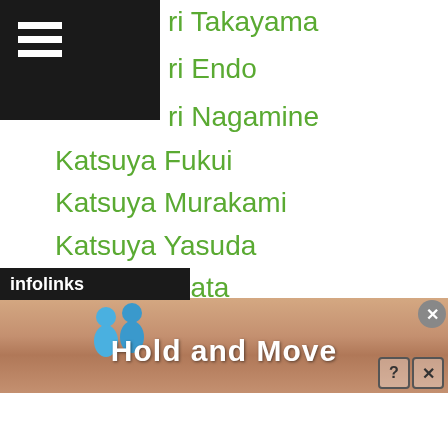[Figure (screenshot): Mobile app screenshot showing a list of Japanese names as links in green text, with a hamburger menu icon in the top-left corner over a black background, and an advertisement banner at the bottom for 'Hold and Move' with an infolinks label.]
ri Takayama
ri Endo
ri Nagamine
Katsuya Fukui
Katsuya Murakami
Katsuya Yasuda
Kayoko Ebata
Kazakhstan
Kazuaki Miyamoto
Kazuhiko Hidaka
Kazuhiro Hidaka
Kazuhiro Imamura
Kazuhiro Nishitani
Kazuhiro Ryuko
Kazuki Anaguchi
Kazuki Higuchi